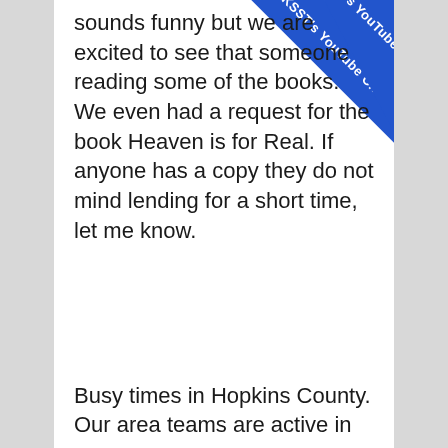sounds funny but we are excited to see that someone reading some of the books. We even had a request for the book Heaven is for Real. If anyone has a copy they do not mind lending for a short time, let me know.
[Figure (other): Blue diagonal ribbon banner in upper right corner with text 'KSST's YouTube Channel']
Busy times in Hopkins County. Our area teams are active in